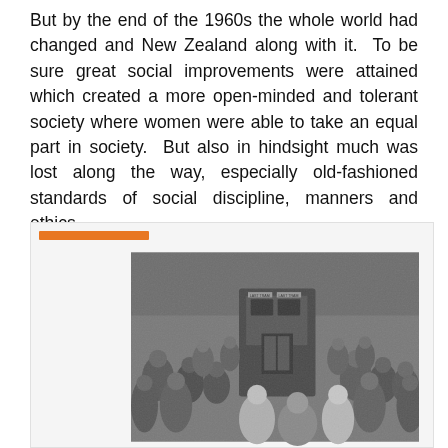But by the end of the 1960s the whole world had changed and New Zealand along with it. To be sure great social improvements were attained which created a more open-minded and tolerant society where women were able to take an equal part in society. But also in hindsight much was lost along the way, especially old-fashioned standards of social discipline, manners and ethics.
[Figure (photo): A black and white historical photograph showing a large crowd of people gathered around what appears to be a tram or streetcar. A sign on the vehicle reads 'LAST TRAM'. The crowd fills the entire frame, with people of various ages visible.]